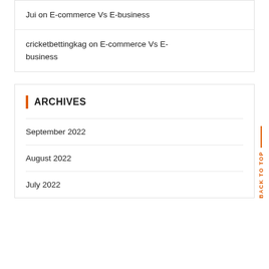Jui on E-commerce Vs E-business
cricketbettingkag on E-commerce Vs E-business
ARCHIVES
September 2022
August 2022
July 2022